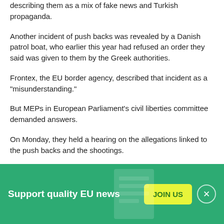describing them as a mix of fake news and Turkish propaganda.
Another incident of push backs was revealed by a Danish patrol boat, who earlier this year had refused an order they said was given to them by the Greek authorities.
Frontex, the EU border agency, described that incident as a "misunderstanding."
But MEPs in European Parliament's civil liberties committee demanded answers.
On Monday, they held a hearing on the allegations linked to the push backs and the shootings.
Support quality EU news  JOIN US